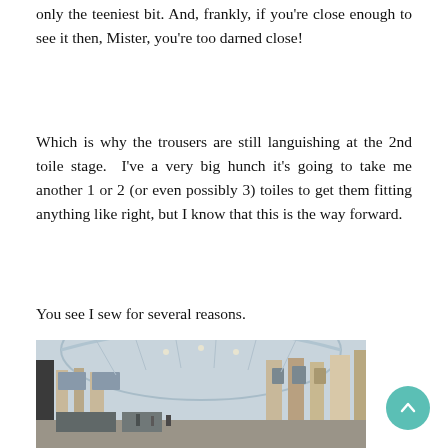only the teeniest bit. And, frankly, if you're close enough to see it then, Mister, you're too darned close!
Which is why the trousers are still languishing at the 2nd toile stage. I've a very big hunch it's going to take me another 1 or 2 (or even possibly 3) toiles to get them fitting anything like right, but I know that this is the way forward.
You see I sew for several reasons.
[Figure (photo): Interior of a shopping arcade or covered market with a glass arched roof, stone columns, and multi-level balconies.]